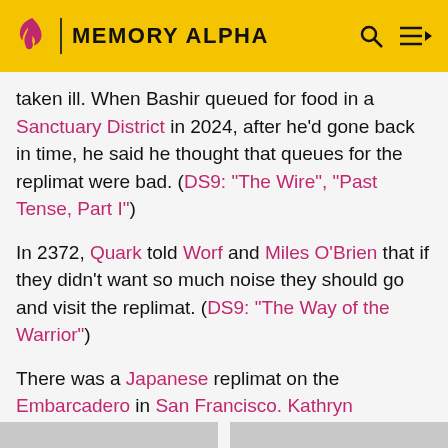MEMORY ALPHA
taken ill. When Bashir queued for food in a Sanctuary District in 2024, after he'd gone back in time, he said he thought that queues for the replimat were bad. (DS9: "The Wire", "Past Tense, Part I")
In 2372, Quark told Worf and Miles O'Brien that if they didn't want so much noise they should go and visit the replimat. (DS9: "The Way of the Warrior")
There was a Japanese replimat on the Embarcadero in San Francisco. Kathryn Janeway recommended it to Chakotay when he was preparing to infiltrate Species 8472's San Francisco simulation on Terrasphere 8 in 2375. (VOY: "In the Flesh")